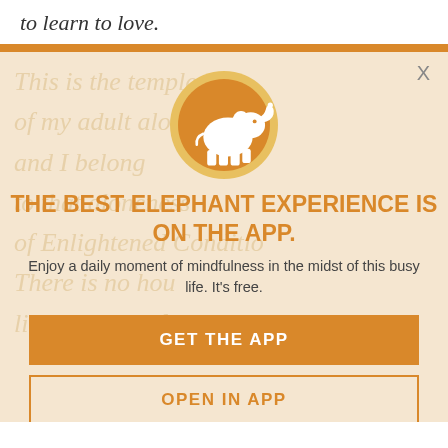to learn to love.
[Figure (illustration): Elephant Journal app promotional modal overlay with watermark italic text in background reading poem fragments ('This is the temple of my adult atonement and I belong to that aloneness...'), an orange circle with white elephant logo, headline, subtext, and two CTA buttons]
THE BEST ELEPHANT EXPERIENCE IS ON THE APP.
Enjoy a daily moment of mindfulness in the midst of this busy life. It's free.
GET THE APP
OPEN IN APP